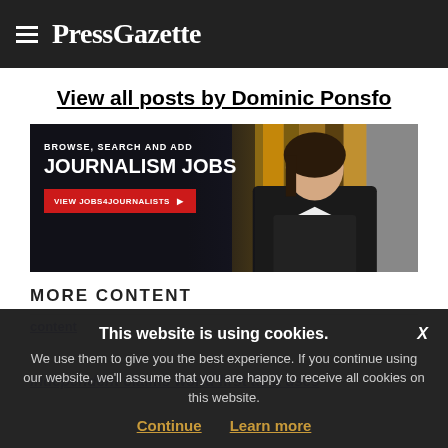PressGazette
View all posts by Dominic Ponsfo
[Figure (photo): Advertisement banner: BROWSE, SEARCH AND ADD JOURNALISM JOBS. VIEW JOBS4JOURNALISTS button. Woman in background.]
MORE CONTENT
Independent claims world first as it uses
content
This website is using cookies. We use them to give you the best experience. If you continue using our website, we'll assume that you are happy to receive all cookies on this website.
Continue   Learn more